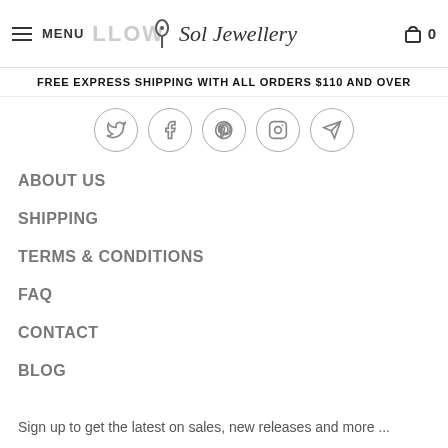MENU  Sol Jewellery  0
FREE EXPRESS SHIPPING WITH ALL ORDERS $110 AND OVER
[Figure (other): Five social media icon circles: Twitter, Facebook, Pinterest, Instagram, Telegram]
ABOUT US
SHIPPING
TERMS & CONDITIONS
FAQ
CONTACT
BLOG
Sign up to get the latest on sales, new releases and more ...